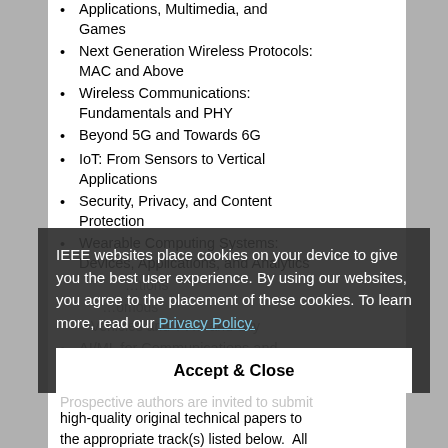Applications, Multimedia, and Games
Next Generation Wireless Protocols: MAC and Above
Wireless Communications: Fundamentals and PHY
Beyond 5G and Towards 6G
IoT: From Sensors to Vertical Applications
Security, Privacy, and Content Protection
Wearable Computing Systems: Devices, Applications, and Analytics
...tions
...omous Vehicles and TV... and Sky
AI/ML for Communications and Networking
IEEE websites place cookies on your device to give you the best user experience. By using our websites, you agree to the placement of these cookies. To learn more, read our Privacy Policy.
Accept & Close
Prospective authors are invited to submit high-quality original technical papers to the appropriate track(s) listed below.  All